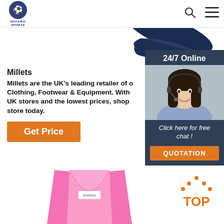HUAXING SPORTS
[Figure (photo): Partial view of a dark navy/black sports item (possibly a paddle or racket handle) against a white background]
Millets
Millets are the UK's leading retailer of Outdoor Clothing, Footwear & Equipment. With over 60 UK stores and the lowest prices, shop our online store today.
[Figure (infographic): 24/7 Online customer service sidebar with a woman wearing a headset, and a 'Click here for free chat!' message with an orange QUOTATION button]
[Figure (photo): Pink children's vest/swimwear with a WARNING label, partially visible]
[Figure (logo): Orange TOP button with upward pointing dots/arrow icon]